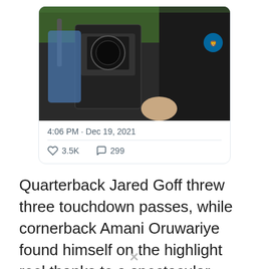[Figure (screenshot): Screenshot of a tweet showing a photo of a person wearing a Detroit Lions black Nike shirt, with camera crew visible. Tweet timestamp reads 4:06 PM · Dec 19, 2021. Likes: 3.5K, Comments: 299.]
Quarterback Jared Goff threw three touchdown passes, while cornerback Amani Oruwariye found himself on the highlight reel thanks to a spectacular interception of Cardinals QB Kyler Murray.